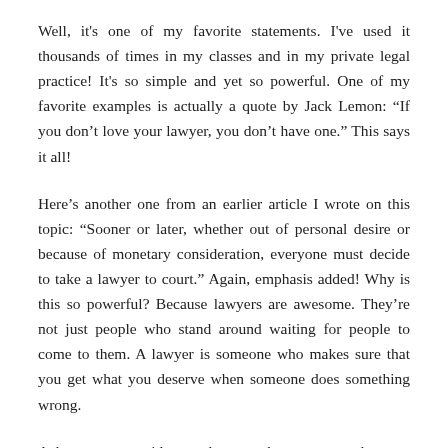Well, it's one of my favorite statements. I've used it thousands of times in my classes and in my private legal practice! It's so simple and yet so powerful. One of my favorite examples is actually a quote by Jack Lemon: “If you don’t love your lawyer, you don’t have one.” This says it all!
Here’s another one from an earlier article I wrote on this topic: “Sooner or later, whether out of personal desire or because of monetary consideration, everyone must decide to take a lawyer to court.” Again, emphasis added! Why is this so powerful? Because lawyers are awesome. They’re not just people who stand around waiting for people to come to them. A lawyer is someone who makes sure that you get what you deserve when someone does something wrong.
A lawyer gets paid to make sure that you get what you deserve when someone does something wrong. How is a